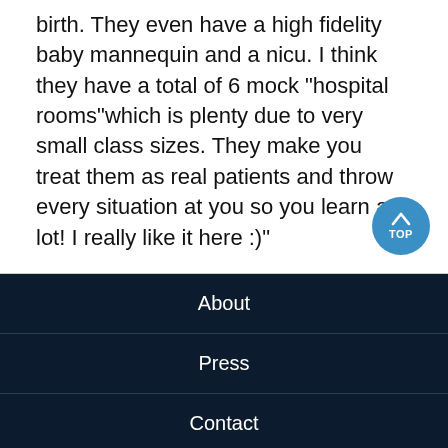birth. They even have a high fidelity baby mannequin and a nicu. I think they have a total of 6 mock "hospital rooms"which is plenty due to very small class sizes. They make you treat them as real patients and throw every situation at you so you learn a lot! I really like it here :)"
About
Press
Contact
Salary Score
Privacy